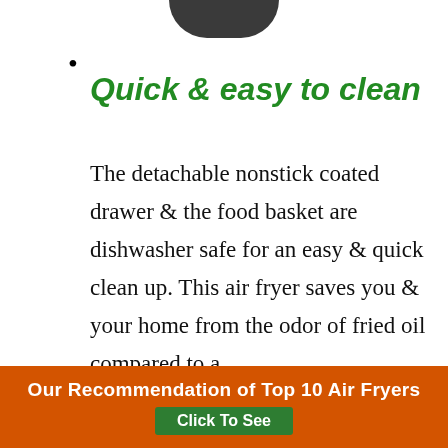[Figure (photo): Partial dark circular shape visible at the top of the page, likely bottom portion of an air fryer product image.]
•
Quick & easy to clean
The detachable nonstick coated drawer & the food basket are dishwasher safe for an easy & quick clean up. This air fryer saves you & your home from the odor of fried oil compared to a
Our Recommendation of Top 10 Air Fryers
Click To See